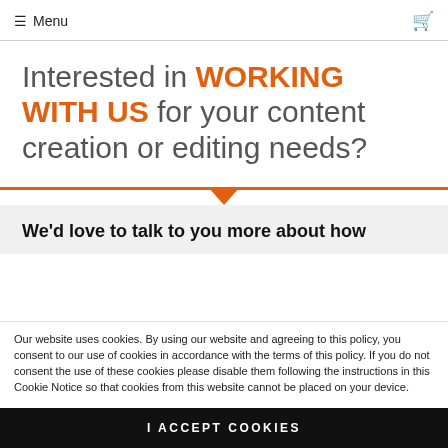≡ Menu
Interested in WORKING WITH US for your content creation or editing needs?
We'd love to talk to you more about how
Our website uses cookies. By using our website and agreeing to this policy, you consent to our use of cookies in accordance with the terms of this policy. If you do not consent the use of these cookies please disable them following the instructions in this Cookie Notice so that cookies from this website cannot be placed on your device.
I ACCEPT COOKIES